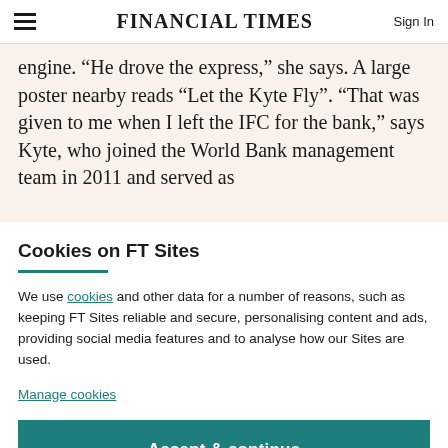FINANCIAL TIMES | Sign In
engine. “He drove the express,” she says. A large poster nearby reads “Let the Kyte Fly”. “That was given to me when I left the IFC for the bank,” says Kyte, who joined the World Bank management team in 2011 and served as
Cookies on FT Sites
We use cookies and other data for a number of reasons, such as keeping FT Sites reliable and secure, personalising content and ads, providing social media features and to analyse how our Sites are used.
Manage cookies
Accept & continue